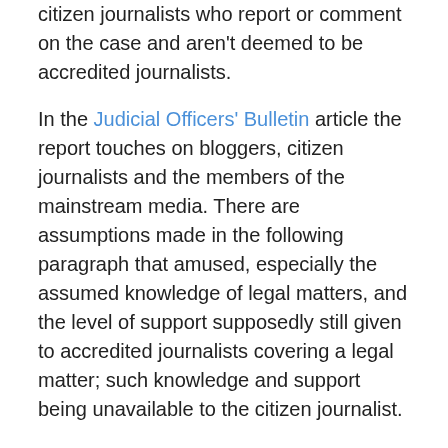citizen journalists who report or comment on the case and aren't deemed to be accredited journalists.
In the Judicial Officers' Bulletin article the report touches on bloggers, citizen journalists and the members of the mainstream media. There are assumptions made in the following paragraph that amused, especially the assumed knowledge of legal matters, and the level of support supposedly still given to accredited journalists covering a legal matter; such knowledge and support being unavailable to the citizen journalist.
“Information that has been suppressed by a court ‘going viral’ via social media
… At common law, sub judice contempt enabled the punishment of people who published material that had a real and definite tendency to prejudice the